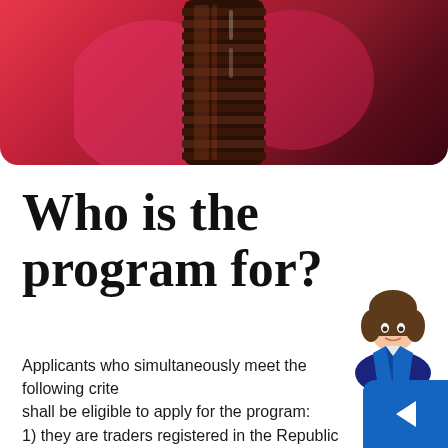[Figure (photo): Close-up photo of a dark amber glass bottle cap/lid with ridged texture against a pink/red background]
Who is the program for?
Applicants who simultaneously meet the following criteria shall be eligible to apply for the program:
1) they are traders registered in the Republic of Bulgaria under the Commerce Act or are registered as agricultural producers.
2) they are micro, small or medium enterprises within the meaning of Art. 3 and Art. 4 of the Small and Medium Enterprises Act.